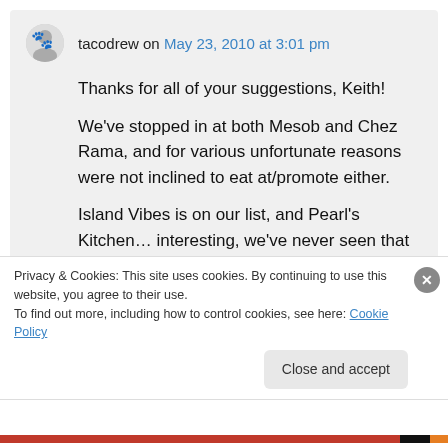tacodrew on May 23, 2010 at 3:01 pm
Thanks for all of your suggestions, Keith!
We've stopped in at both Mesob and Chez Rama, and for various unfortunate reasons were not inclined to eat at/promote either.
Island Vibes is on our list, and Pearl's Kitchen… interesting, we've never seen that before!
Privacy & Cookies: This site uses cookies. By continuing to use this website, you agree to their use.
To find out more, including how to control cookies, see here: Cookie Policy
Close and accept